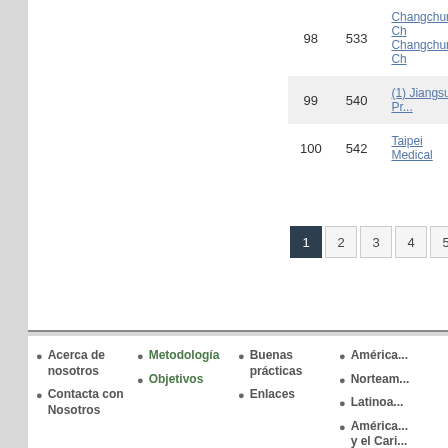| # | Score | University |
| --- | --- | --- |
| 98 | 533 | Changchun Ch... |
| 99 | 540 | (1) Jiangsu Pr... |
| 100 | 542 | Taipei Medical... |
Pagination: 1 2 3 4 5 6 7 8
Acerca de nosotros
Contacta con Nosotros
Metodología
Objetivos
Buenas prácticas
Enlaces
América...
Norteam...
Latinoa...
América... y el Cari...
Estados...